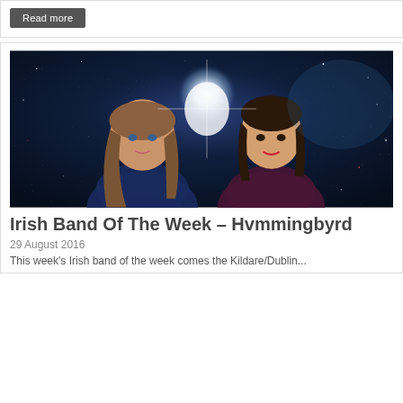Read more
[Figure (photo): Two young women posed against a dark starry/space background with a bright white light flare between them. Left woman has long light brown hair, right woman has dark hair pulled back. Atmospheric, artistic photo shoot.]
Irish Band Of The Week – Hvmmingbyrd
29 August 2016
This week's Irish band of the week comes the Kildare/Dublin...